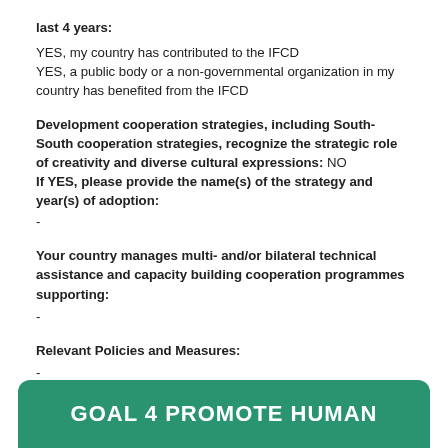last 4 years:
YES, my country has contributed to the IFCD
YES, a public body or a non-governmental organization in my country has benefited from the IFCD
Development cooperation strategies, including South-South cooperation strategies, recognize the strategic role of creativity and diverse cultural expressions:  NO
If YES, please provide the name(s) of the strategy and year(s) of adoption:
-
Your country manages multi- and/or bilateral technical assistance and capacity building cooperation programmes supporting:
-
Relevant Policies and Measures:
-
GOAL 4   PROMOTE HUMAN